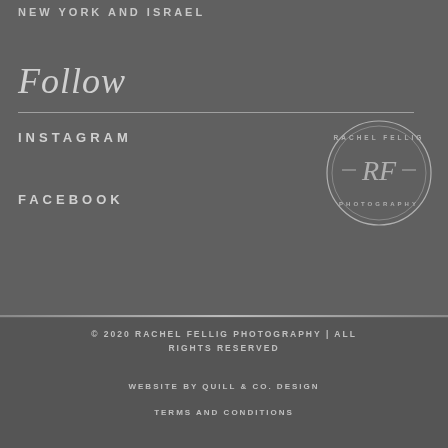NEW YORK AND ISRAEL
Follow
INSTAGRAM
FACEBOOK
[Figure (logo): Rachel Fellig Photography circular logo with RJ monogram in center]
© 2020 RACHEL FELLIG PHOTOGRAPHY | ALL RIGHTS RESERVED
WEBSITE BY QUILL & CO. DESIGN
TERMS AND CONDITIONS